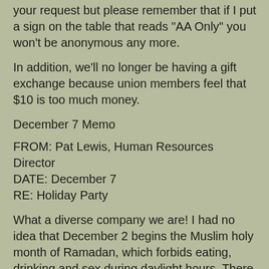your request but please remember that if I put a sign on the table that reads "AA Only" you won't be anonymous any more.
In addition, we'll no longer be having a gift exchange because union members feel that $10 is too much money.
December 7 Memo
FROM: Pat Lewis, Human Resources Director
DATE: December 7
RE: Holiday Party
What a diverse company we are! I had no idea that December 2 begins the Muslim holy month of Ramadan, which forbids eating, drinking and sex during daylight hours. There goes the party! Seriously, we can appreciate how a luncheon this time of year does not ccommodate our Muslim employees' beliefs. Perhaps Luigi's can hold off on serving your meal until the end of the party the days are so short this time of year or else package everything for takehome in little foil swans. Will that work?
Meanwhile, I have arranged for members of Overeaters Anonymous to sit farthest away from the dessert table and for pregnant members to sit